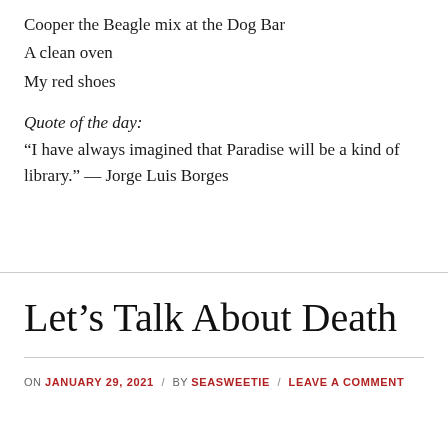Cooper the Beagle mix at the Dog Bar
A clean oven
My red shoes
Quote of the day:
“I have always imagined that Paradise will be a kind of library.” — Jorge Luis Borges
Let’s Talk About Death
ON JANUARY 29, 2021 / BY SEASWEETIE / LEAVE A COMMENT